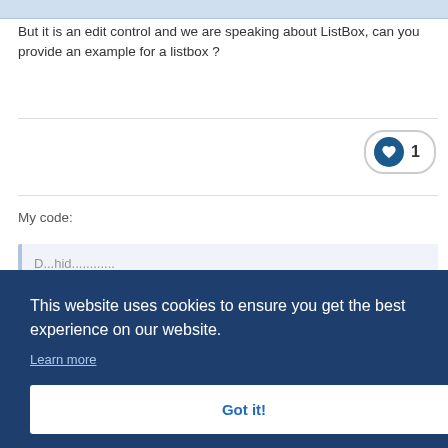But it is an edit control and we are speaking about ListBox, can you provide an example for a listbox ?
[Figure (other): Heart/like button with count of 1]
My code:
[Figure (screenshot): Code block area partially visible]
This website uses cookies to ensure you get the best experience on our website.
Learn more
Got it!
Yes, I would like to see your solution, TheSaint, or if you can link to.